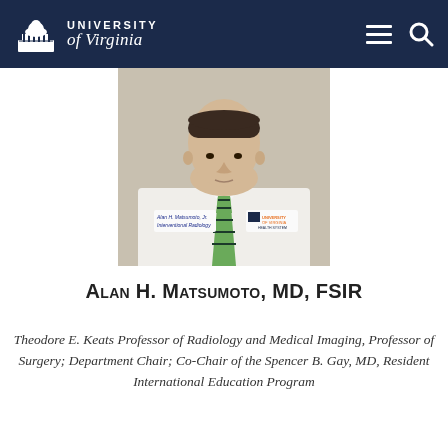University of Virginia
[Figure (photo): Headshot of Alan H. Matsumoto, MD, FSIR in a white coat with 'Alan H. Matsumoto, Jr., Interventional Radiology' name badge and University of Virginia Health System logo on the coat.]
Alan H. Matsumoto, MD, FSIR
Theodore E. Keats Professor of Radiology and Medical Imaging, Professor of Surgery; Department Chair; Co-Chair of the Spencer B. Gay, MD, Resident International Education Program